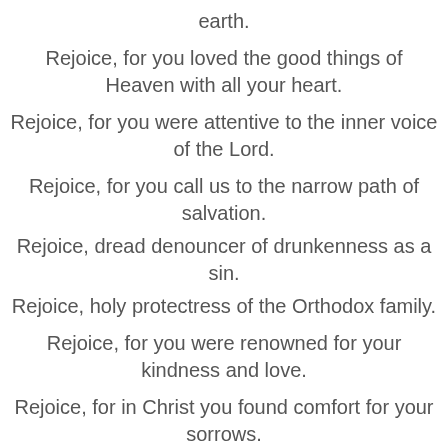earth.
Rejoice, for you loved the good things of Heaven with all your heart.
Rejoice, for you were attentive to the inner voice of the Lord.
Rejoice, for you call us to the narrow path of salvation.
Rejoice, dread denouncer of drunkenness as a sin.
Rejoice, holy protectress of the Orthodox family.
Rejoice, for you were renowned for your kindness and love.
Rejoice, for in Christ you found comfort for your sorrows.
Rejoice, Blessed Xenia, faithful intercessor for our souls.